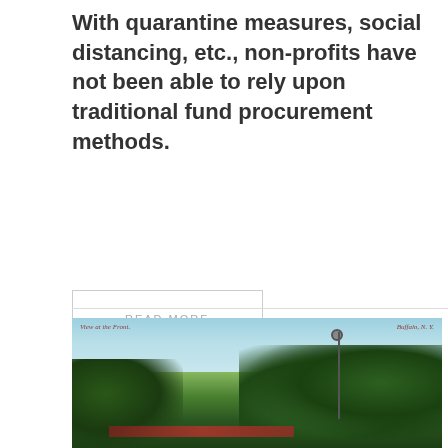With quarantine measures, social distancing, etc., non-profits have not been able to rely upon traditional fund procurement methods.
READ MORE
[Figure (photo): Vintage postcard-style photo of a park scene in Buffalo, N.Y. labeled 'View at the Front'. Shows trees, a lamp post, a path with red flowers, and figures near a cannon in the foreground under a light blue sky.]